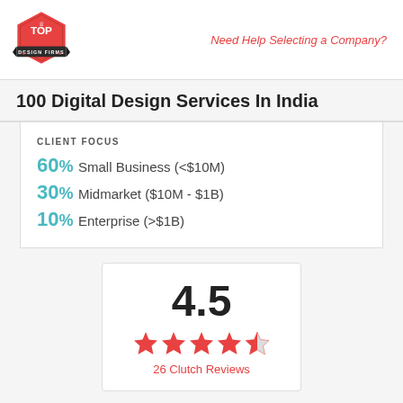[Figure (logo): Top Design Firms hexagonal red logo with crown icon]
Need Help Selecting a Company?
100 Digital Design Services In India
CLIENT FOCUS
60% Small Business (<$10M)
30% Midmarket ($10M - $1B)
10% Enterprise (>$1B)
[Figure (infographic): Rating box showing 4.5 score with 4.5 red stars and 26 Clutch Reviews]
Visit Site